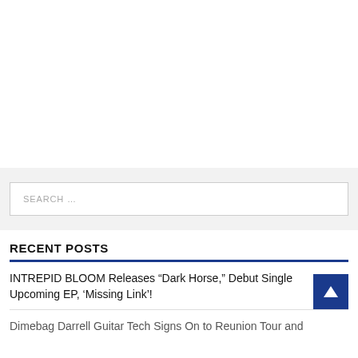SEARCH ...
RECENT POSTS
INTREPID BLOOM Releases “Dark Horse,” Debut Single Upcoming EP, ‘Missing Link’!
Dimebag Darrell Guitar Tech Signs On to Reunion Tour and